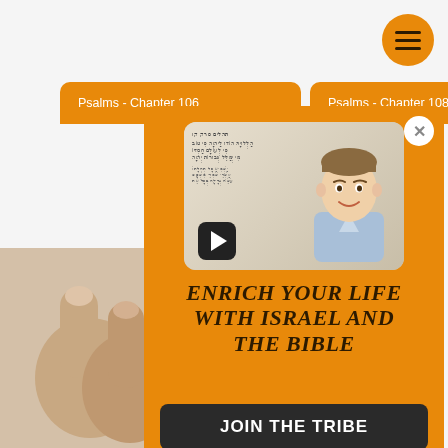[Figure (screenshot): Mobile app screenshot showing Bible study website with orange tab cards for Psalms Chapter 106 and Psalms Chapter 108, a hamburger menu button, a popup panel with a video thumbnail of a smiling man in front of Hebrew text, and promotional text 'Enrich Your Life With Israel And The Bible' with a 'Join The Tribe' button]
Psalms - Chapter 106
Psalms - Chapter 108
ENRICH YOUR LIFE WITH ISRAEL AND THE BIBLE
JOIN THE TRIBE